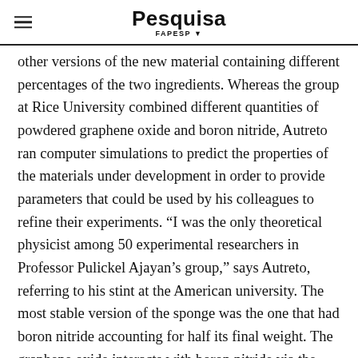Pesquisa FAPESP
other versions of the new material containing different percentages of the two ingredients. Whereas the group at Rice University combined different quantities of powdered graphene oxide and boron nitride, Autreto ran computer simulations to predict the properties of the materials under development in order to provide parameters that could be used by his colleagues to refine their experiments. “I was the only theoretical physicist among 50 experimental researchers in Professor Pulickel Ajayan’s group,” says Autreto, referring to his stint at the American university. The most stable version of the sponge was the one that had boron nitride accounting for half its final weight. The graphene oxide interacts with boron nitride via the action of chemical